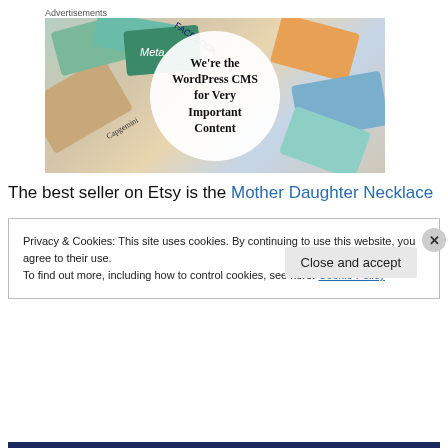Advertisements
[Figure (photo): Advertisement banner showing colorful cards/booklets scattered in background with logos including Meta, Facebook, Capgemini, and others. A large white circle in the center contains bold serif text reading: We're the WordPress CMS for Very Important Content, with a logo at the bottom.]
The best seller on Etsy is the Mother Daughter Necklace
Privacy & Cookies: This site uses cookies. By continuing to use this website, you agree to their use.
To find out more, including how to control cookies, see here: Cookie Policy
Close and accept